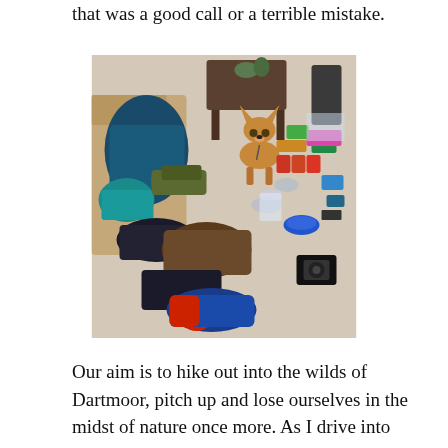that was a good call or a terrible mistake.
[Figure (photo): A corgi dog standing among camping and hiking gear laid out on a floor, including clothing, a backpack, food items, and various supplies.]
Our aim is to hike out into the wilds of Dartmoor, pitch up and lose ourselves in the midst of nature once more. As I drive into